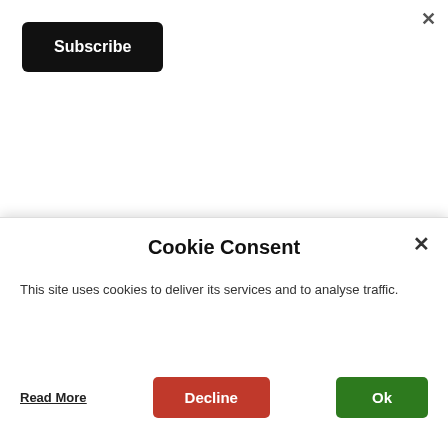×
Subscribe
Thanks for visiting...! Why not leave a comment.? And tell your friends..!!!
By commenting you accept to our GDPR Policy
Cookie Consent
This site uses cookies to deliver its services and to analyse traffic.
Read More
Decline
Ok
DID YOU COMMENT ON THIS...